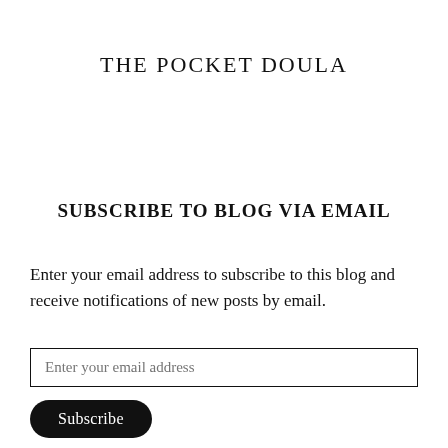THE POCKET DOULA
SUBSCRIBE TO BLOG VIA EMAIL
Enter your email address to subscribe to this blog and receive notifications of new posts by email.
Enter your email address
Subscribe